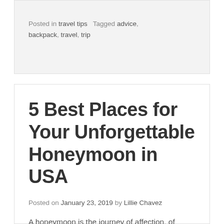Posted in travel tips   Tagged advice, backpack, travel, trip
5 Best Places for Your Unforgettable Honeymoon in USA
Posted on January 23, 2019 by Lillie Chavez
A honeymoon is the journey of affection, of togetherness also it produces a varied assortment of romantic moments to cherish